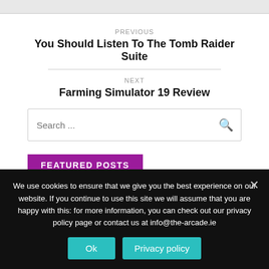PREVIOUS
You Should Listen To The Tomb Raider Suite
NEXT
Farming Simulator 19 Review
Search ...
FEATURED POSTS
We use cookies to ensure that we give you the best experience on our website. If you continue to use this site we will assume that you are happy with this: for more information, you can check out our privacy policy page or contact us at info@the-arcade.ie